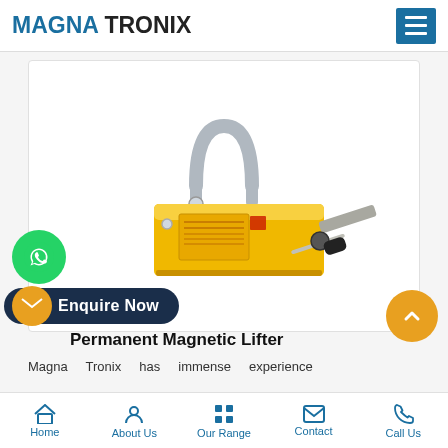MAGNA TRONIX
[Figure (photo): Yellow permanent magnetic lifter with silver U-hook on top and extending handle/lever on the right side. Label reads 'MAGNETIC LIFTER'. Product is bright yellow with a black handle grip.]
Permanent Magnetic Lifter
Magna Tronix has immense experience
Home  About Us  Our Range  Contact  Call Us